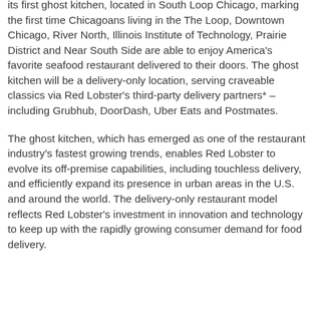its first ghost kitchen, located in South Loop Chicago, marking the first time Chicagoans living in the The Loop, Downtown Chicago, River North, Illinois Institute of Technology, Prairie District and Near South Side are able to enjoy America's favorite seafood restaurant delivered to their doors. The ghost kitchen will be a delivery-only location, serving craveable classics via Red Lobster's third-party delivery partners* – including Grubhub, DoorDash, Uber Eats and Postmates.
The ghost kitchen, which has emerged as one of the restaurant industry's fastest growing trends, enables Red Lobster to evolve its off-premise capabilities, including touchless delivery, and efficiently expand its presence in urban areas in the U.S. and around the world. The delivery-only restaurant model reflects Red Lobster's investment in innovation and technology to keep up with the rapidly growing consumer demand for food delivery.